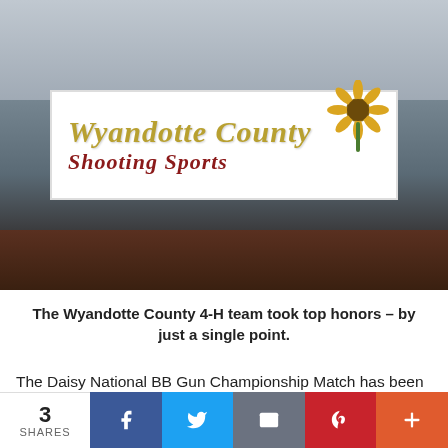[Figure (photo): Group photo of the Wyandotte County 4-H shooting sports team standing behind a large white banner reading 'Wyandotte County Shooting Sports' decorated with a sunflower. Team members wearing white t-shirts with medals.]
The Wyandotte County 4-H team took top honors – by just a single point.
The Daisy National BB Gun Championship Match has been referred to as the Gateway to the Shooting Sports. As Independence Day approaches, teams of young shooters ages 8-15 converge on Rogers, Ark., to compete for Team and Individual National Championships in